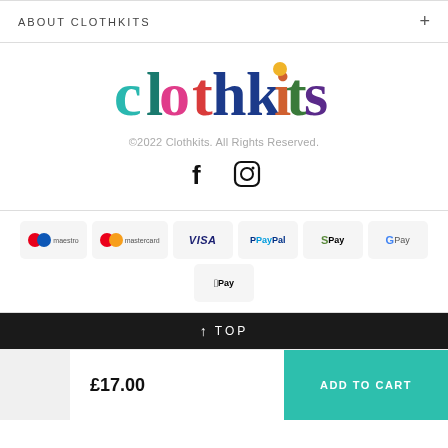ABOUT CLOTHKITS
[Figure (logo): Clothkits colorful logo in serif/display font with multicolored letters]
©2022 Clothkits. All Rights Reserved.
[Figure (other): Facebook and Instagram social media icons]
[Figure (other): Payment method badges: Maestro, Mastercard, Visa, PayPal, Shop Pay, G Pay, Apple Pay]
↑ TOP
£17.00
ADD TO CART